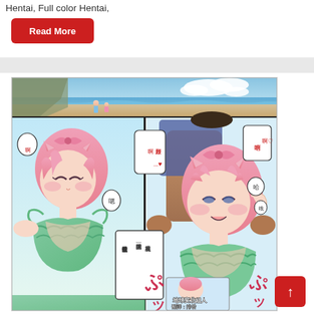Hentai, Full color Hentai,
Read More
[Figure (illustration): Full color manga/hentai illustration showing two anime-style girls with pink hair and cat ears wearing green frilly bikinis at a beach. Multiple speech bubbles with Chinese text including: 啊好激烈...♥, 啊哈啊, 我還想著儂閒玩弄一下草食系的孩子也不錯. Watermark text: 地球変北組人, 翻譯: 排發]